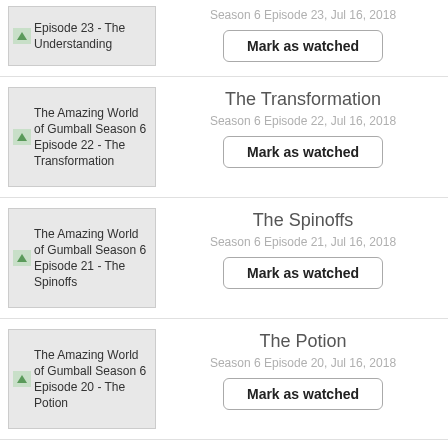[Figure (screenshot): Partial top row: thumbnail for Episode 23 - The Understanding with text label, and Mark as watched button]
[Figure (screenshot): Episode row for The Transformation, Season 6 Episode 22, Jul 16 2018, with thumbnail, title, meta, and Mark as watched button]
[Figure (screenshot): Episode row for The Spinoffs, Season 6 Episode 21, Jul 16 2018, with thumbnail, title, meta, and Mark as watched button]
[Figure (screenshot): Episode row for The Potion, Season 6 Episode 20, Jul 16 2018, with thumbnail, title, meta, and Mark as watched button]
[Figure (screenshot): Partial bottom row: thumbnail for The Intelligence, Season 6, with partial info visible]